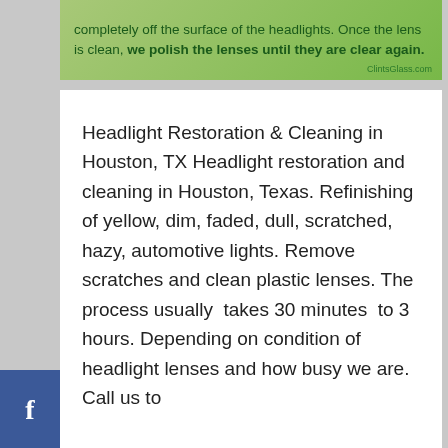[Figure (screenshot): Green banner image with text partially visible: 'completely off the surface of the headlights. Once the lens is clean, we polish the lenses until they are clear again.' with ClintsGlass.com credit in bottom right.]
Headlight Restoration & Cleaning in Houston, TX Headlight restoration and cleaning in Houston, Texas. Refinishing of yellow, dim, faded, dull, scratched, hazy, automotive lights. Remove scratches and clean plastic lenses. The process usually takes 30 minutes to 3 hours. Depending on condition of headlight lenses and how busy we are. Call us to
CONTINUE READING »